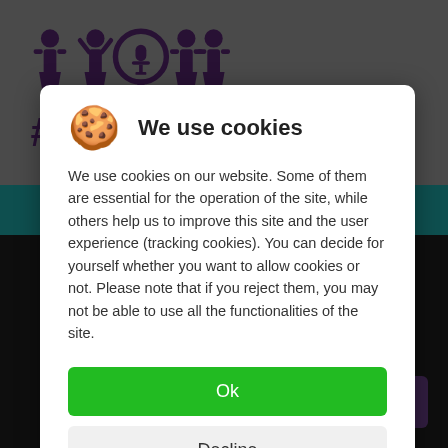[Figure (logo): WomenEd logo with purple female/person icons and hashtag WomenEd text]
Unconscious Gender Bias
We use cookies
We use cookies on our website. Some of them are essential for the operation of the site, while others help us to improve this site and the user experience (tracking cookies). You can decide for yourself whether you want to allow cookies or not. Please note that if you reject them, you may not be able to use all the functionalities of the site.
Ok
Decline